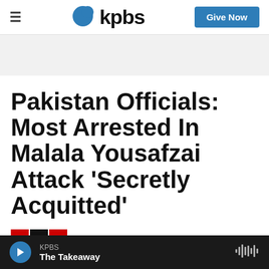kpbs — Give Now
[Figure (other): Gray advertisement banner area]
Pakistan Officials: Most Arrested In Malala Yousafzai Attack 'Secretly Acquitted'
By Scott Neuman / NPR
KPBS — The Takeaway (audio player bar)